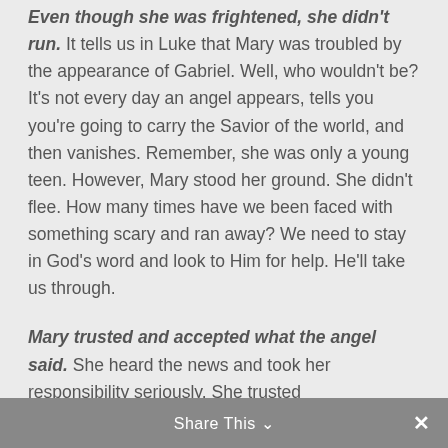Even though she was frightened, she didn't run. It tells us in Luke that Mary was troubled by the appearance of Gabriel. Well, who wouldn't be? It's not every day an angel appears, tells you you're going to carry the Savior of the world, and then vanishes. Remember, she was only a young teen. However, Mary stood her ground. She didn't flee. How many times have we been faced with something scary and ran away? We need to stay in God's word and look to Him for help. He'll take us through.
Mary trusted and accepted what the angel said. She heard the news and took her responsibility seriously. She trusted
Share This